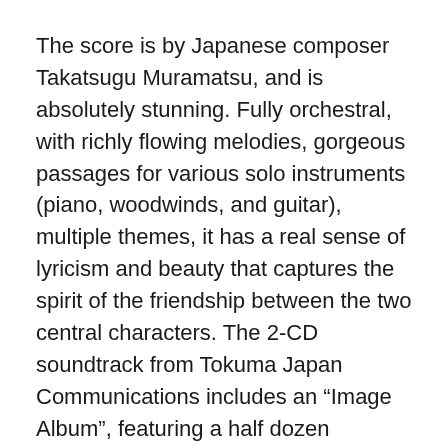The score is by Japanese composer Takatsugu Muramatsu, and is absolutely stunning. Fully orchestral, with richly flowing melodies, gorgeous passages for various solo instruments (piano, woodwinds, and guitar), multiple themes, it has a real sense of lyricism and beauty that captures the spirit of the friendship between the two central characters. The 2-CD soundtrack from Tokuma Japan Communications includes an “Image Album”, featuring a half dozen specially arranged artistic interpretations of the music, and a standard score album, showcasing almost 50 minutes as it appears in the film.
The pieces on the Image Album are simply sublime, earmarking Muramatsu as a composer with a beautifully delicate touch, a clear mastery of all parts of the orchestra, and a knack for lushly romantic themes. The dreamlike